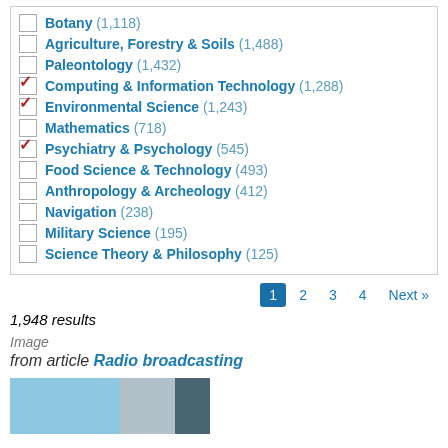Botany (1,118)
Agriculture, Forestry & Soils (1,488)
Paleontology (1,432)
Computing & Information Technology (1,288) [checked]
Environmental Science (1,243) [checked]
Mathematics (718)
Psychiatry & Psychology (545) [checked]
Food Science & Technology (493)
Anthropology & Archeology (412)
Navigation (238)
Military Science (195)
Science Theory & Philosophy (125)
1 2 3 4 Next »
1,948 results
Image
from article Radio broadcasting
[Figure (photo): Thumbnail image related to Radio broadcasting article]